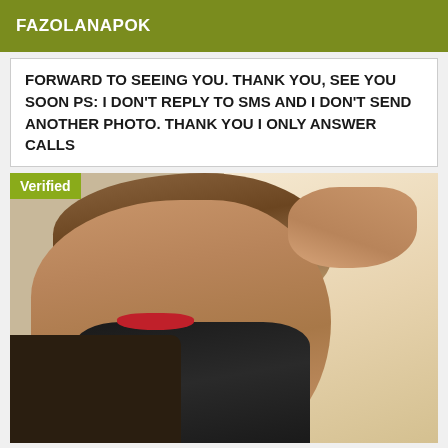FAZOLANAPOK
FORWARD TO SEEING YOU. THANK YOU, SEE YOU SOON PS: I DON'T REPLY TO SMS AND I DON'T SEND ANOTHER PHOTO. THANK YOU I ONLY ANSWER CALLS
[Figure (photo): Portrait photo of a woman with brown wavy hair, red lipstick, wearing a black top/lingerie, taking a selfie. A 'Verified' badge is overlaid in the top-left corner.]